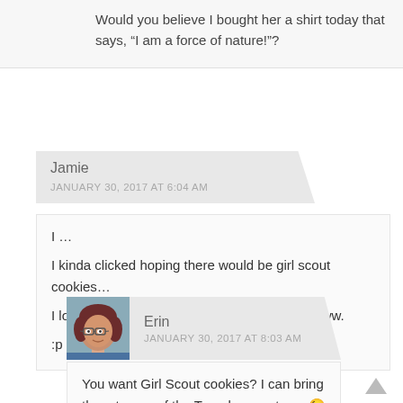Would you believe I bought her a shirt today that says, “I am a force of nature!”?
Jamie
JANUARY 30, 2017 AT 6:04 AM
I …
I kinda clicked hoping there would be girl scout cookies…
I love you but… TEASE! Cookie tease. Gaawww.
:p
[Figure (photo): Profile photo of Erin, a woman with short reddish hair and glasses, wearing a blue top]
Erin
JANUARY 30, 2017 AT 8:03 AM
You want Girl Scout cookies? I can bring them to one of the Tuesday meetups. 😉